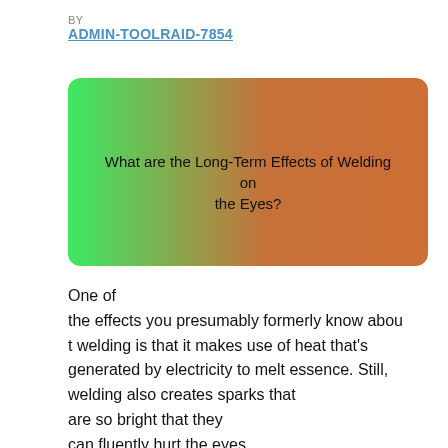BY
ADMIN-TOOLRAID-7854
[Figure (illustration): Rectangular banner with rounded corners featuring a gradient from bright green on the left to orange on the right, with centered text reading 'What are the Long-Term Effects of Welding on the Eyes?']
One of the effects you presumably formerly know about welding is that it makes use of heat that's generated by electricity to melt essence. Still, welding also creates sparks that are so bright that they can fluently hurt the eyes. That's exactly the reason why